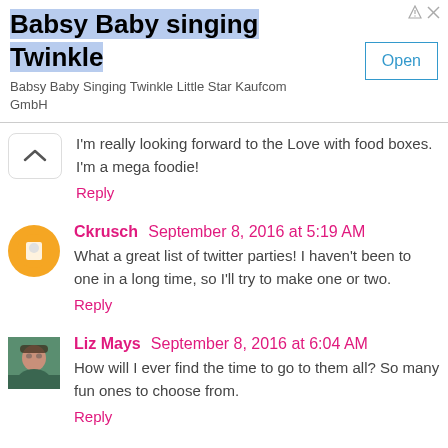[Figure (screenshot): Ad banner for 'Babsy Baby singing Twinkle' app with Open button]
I'm really looking forward to the Love with food boxes. I'm a mega foodie!
Reply
Ckrusch September 8, 2016 at 5:19 AM
What a great list of twitter parties! I haven't been to one in a long time, so I'll try to make one or two.
Reply
Liz Mays September 8, 2016 at 6:04 AM
How will I ever find the time to go to them all? So many fun ones to choose from.
Reply